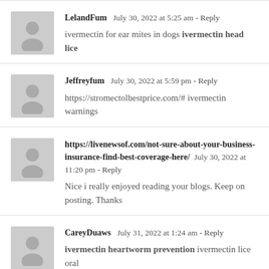LelandFum   July 30, 2022 at 5:25 am - Reply
ivermectin for ear mites in dogs ivermectin head lice
Jeffreyfum   July 30, 2022 at 5:59 pm - Reply
https://stromectolbestprice.com/# ivermectin warnings
https://livenewsof.com/not-sure-about-your-business-insurance-find-best-coverage-here/   July 30, 2022 at 11:20 pm - Reply
Nice i really enjoyed reading your blogs. Keep on posting. Thanks
CareyDuaws   July 31, 2022 at 1:24 am - Reply
ivermectin heartworm prevention ivermectin lice oral